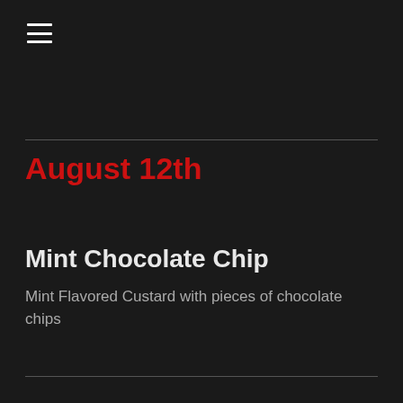[Figure (other): Hamburger menu icon with three horizontal white lines on dark background]
August 12th
Mint Chocolate Chip
Mint Flavored Custard with pieces of chocolate chips